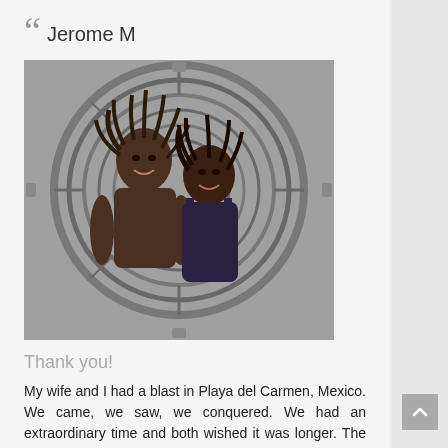Jerome M
[Figure (photo): Two people smiling in front of an Aztec calendar stone carving. A shirtless man with long dreadlocks and a woman in a dark tank top posing together outdoors.]
Thank you!
My wife and I had a blast in Playa del Carmen, Mexico. We came, we saw, we conquered. We had an extraordinary time and both wished it was longer. The food, hotel, even the people were great, and we especially want to thank ODENZA for setting this whole thing up. We definitely will be using you guys again